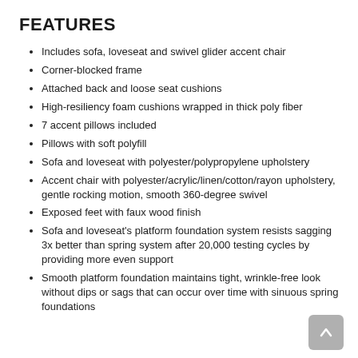FEATURES
Includes sofa, loveseat and swivel glider accent chair
Corner-blocked frame
Attached back and loose seat cushions
High-resiliency foam cushions wrapped in thick poly fiber
7 accent pillows included
Pillows with soft polyfill
Sofa and loveseat with polyester/polypropylene upholstery
Accent chair with polyester/acrylic/linen/cotton/rayon upholstery, gentle rocking motion, smooth 360-degree swivel
Exposed feet with faux wood finish
Sofa and loveseat's platform foundation system resists sagging 3x better than spring system after 20,000 testing cycles by providing more even support
Smooth platform foundation maintains tight, wrinkle-free look without dips or sags that can occur over time with sinuous spring foundations